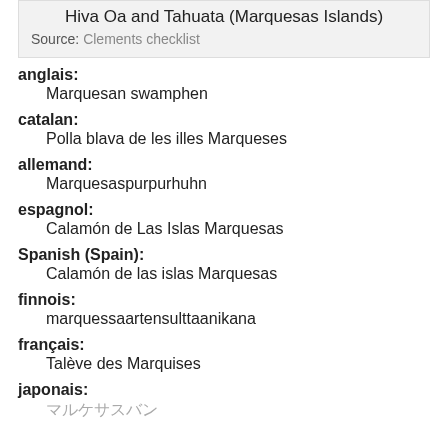Hiva Oa and Tahuata (Marquesas Islands)
Source: Clements checklist
anglais: Marquesan swamphen
catalan: Polla blava de les illes Marqueses
allemand: Marquesaspurpurhuhn
espagnol: Calamón de Las Islas Marquesas
Spanish (Spain): Calamón de las islas Marquesas
finnois: marquessaartensulttaanikana
français: Talève des Marquises
japonais: マルケサスバン